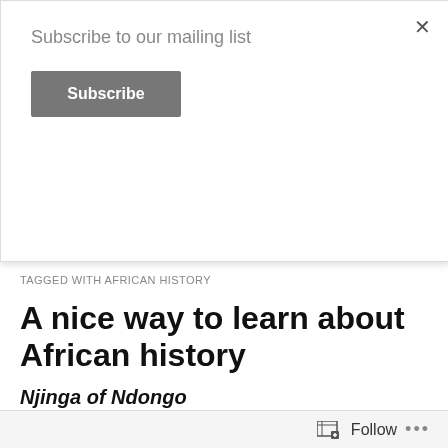Subscribe to our mailing list
Subscribe
If you don't know your History, you don't know what you're talking about!
[Figure (photo): Dark wood grain texture banner]
TAGGED WITH AFRICAN HISTORY
A nice way to learn about African history
Njinga of Ndongo
Written by Ekiuwe Aire